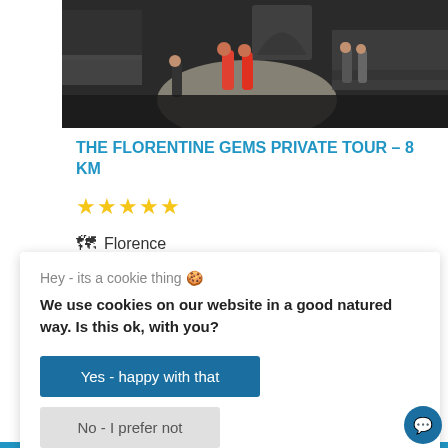[Figure (photo): Outdoor plaza scene with people walking, sunlight on dark stone pavement, steps and structures in background]
THE FLORENTINE GEMS PRIVATE TOUR – 8 KM
★★★★★
🗺 Florence
Hey - its a cookie thing 🍪
We use cookies on our website in a good natured way. Is this ok, with you?
Yes - happy with that
No - I prefer not